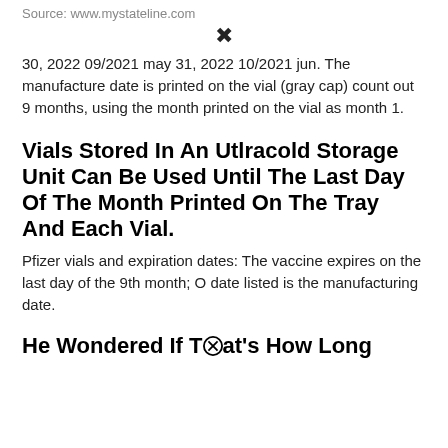Source: www.mystateline.com
30, 2022 09/2021 may 31, 2022 10/2021 jun. The manufacture date is printed on the vial (gray cap) count out 9 months, using the month printed on the vial as month 1.
Vials Stored In An Utlracold Storage Unit Can Be Used Until The Last Day Of The Month Printed On The Tray And Each Vial.
Pfizer vials and expiration dates: The vaccine expires on the last day of the 9th month; O date listed is the manufacturing date.
He Wondered If That's How Long